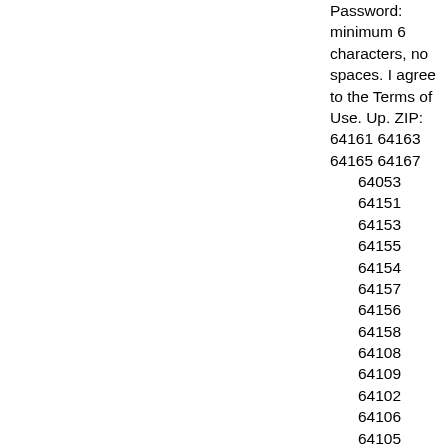Password: minimum 6 characters, no spaces. I agree to the Terms of Use. Up. ZIP: 64161 64163 64165 64167 64053 64151 64153 64155 64154 64157 64156 64158 64108 64109 64102 64106 64105 64101 64128 64129 64124 64125 64126 64127